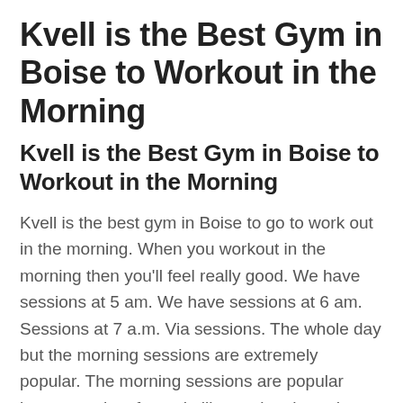Kvell is the Best Gym in Boise to Workout in the Morning
Kvell is the Best Gym in Boise to Workout in the Morning
Kvell is the best gym in Boise to go to work out in the morning. When you workout in the morning then you’ll feel really good. We have sessions at 5 am. We have sessions at 6 am. Sessions at 7 a.m. Via sessions. The whole day but the morning sessions are extremely popular. The morning sessions are popular because a lot of people like getting them done at the beginning of the day. Even the you get up and workout it’s only 45 minutes of